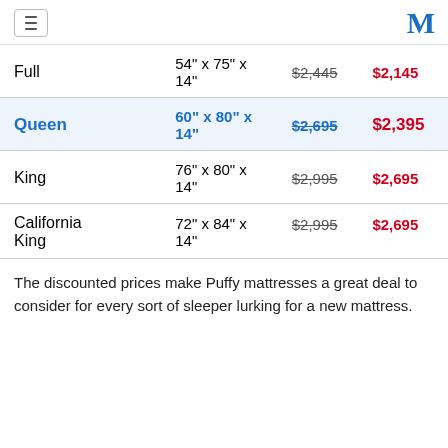Menu / M logo
| Size | Dimensions | Original Price | Sale Price |
| --- | --- | --- | --- |
| Full | 54" x 75" x 14" | $2,445 | $2,145 |
| Queen | 60" x 80" x 14" | $2,695 | $2,395 |
| King | 76" x 80" x 14" | $2,995 | $2,695 |
| California King | 72" x 84" x 14" | $2,995 | $2,695 |
The discounted prices make Puffy mattresses a great deal to consider for every sort of sleeper lurking for a new mattress.